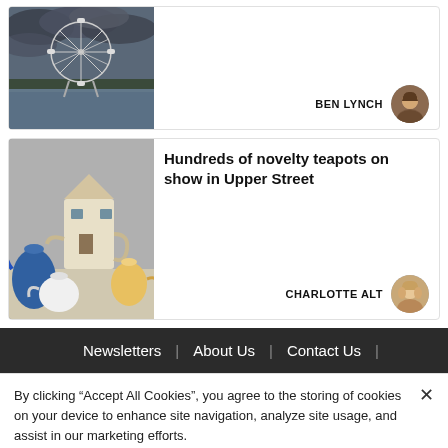[Figure (photo): Article card 1: Photo of the London Eye ferris wheel with cloudy sky and river, author Ben Lynch]
[Figure (photo): Article card 2: Photo of novelty teapots on display, with headline 'Hundreds of novelty teapots on show in Upper Street', author Charlotte Alt]
Hundreds of novelty teapots on show in Upper Street
Newsletters | About Us | Contact Us |
By clicking “Accept All Cookies”, you agree to the storing of cookies on your device to enhance site navigation, analyze site usage, and assist in our marketing efforts.
Cookies Settings | Accept All Cookies